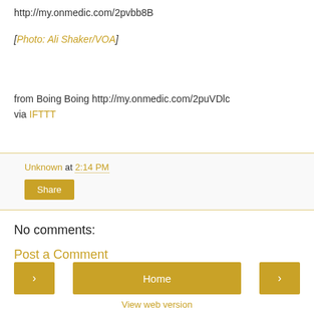http://my.onmedic.com/2pvbb8B
[Photo: Ali Shaker/VOA]
from Boing Boing http://my.onmedic.com/2puVDlc
via IFTTT
Unknown at 2:14 PM
Share
No comments:
Post a Comment
< Home > View web version